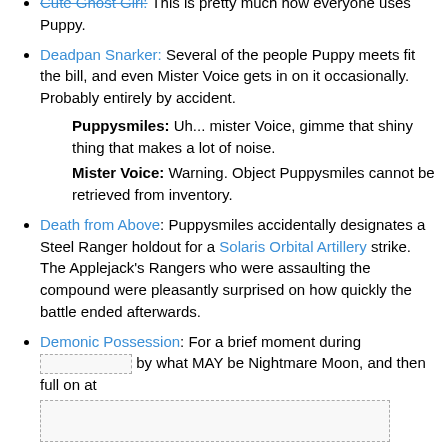Cute Ghost Girl: This is pretty much how everyone uses Puppy.
Deadpan Snarker: Several of the people Puppy meets fit the bill, and even Mister Voice gets in on it occasionally. Probably entirely by accident.
Puppysmiles: Uh... mister Voice, gimme that shiny thing that makes a lot of noise.
Mister Voice: Warning. Object Puppysmiles cannot be retrieved from inventory.
Death from Above: Puppysmiles accidentally designates a Steel Ranger holdout for a Solaris Orbital Artillery strike. The Applejack's Rangers who were assaulting the compound were pleasantly surprised on how quickly the battle ended afterwards.
Demonic Possession: For a brief moment during [redacted] by what MAY be Nightmare Moon, and then full on at [redacted]
Determinator: Puppysmiles will find her mom, darnit, and